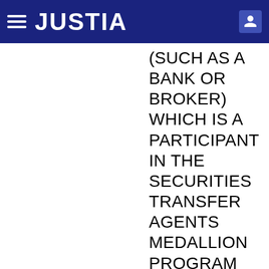JUSTIA
(SUCH AS A BANK OR BROKER) WHICH IS A PARTICIPANT IN THE SECURITIES TRANSFER AGENTS MEDALLION PROGRAM (“STAMP”), THE NEW YORK STOCK EXCHANGE, INC. MEDALLION